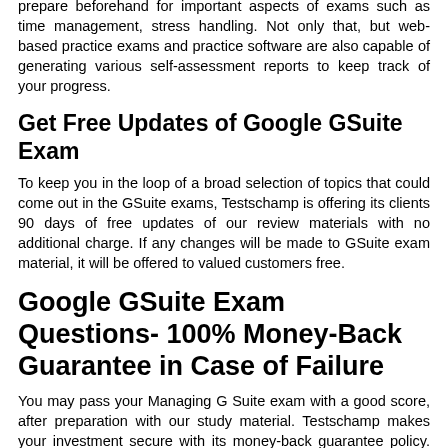prepare beforehand for important aspects of exams such as time management, stress handling. Not only that, but web-based practice exams and practice software are also capable of generating various self-assessment reports to keep track of your progress.
Get Free Updates of Google GSuite Exam
To keep you in the loop of a broad selection of topics that could come out in the GSuite exams, Testschamp is offering its clients 90 days of free updates of our review materials with no additional charge. If any changes will be made to GSuite exam material, it will be offered to valued customers free.
Google GSuite Exam Questions- 100% Money-Back Guarantee in Case of Failure
You may pass your Managing G Suite exam with a good score, after preparation with our study material. Testschamp makes your investment secure with its money-back guarantee policy. You can